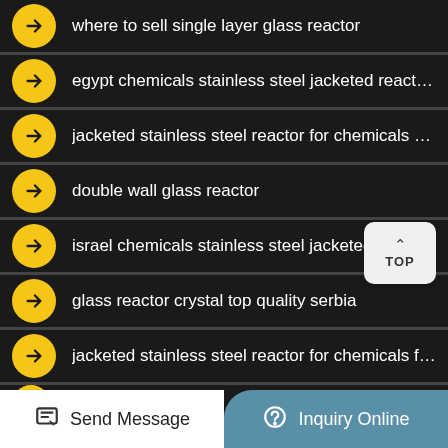where to sell single layer glass reactor
egypt chemicals stainless steel jacketed reactor 50l 100l ...
jacketed stainless steel reactor for chemicals cheap for s...
double wall glass reactor
israel chemicals stainless steel jacketed reactor 50l 100l m...
glass reactor crystal top quality serbia
jacketed stainless steel reactor for chemicals factory in a...
(partial row cut off)
Send Message
Inquiry Online